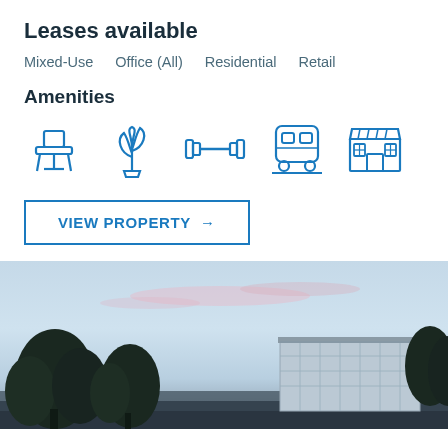Leases available
Mixed-Use   Office (All)   Residential   Retail
Amenities
[Figure (infographic): Five amenity icons in blue outline style: armchair/office furniture, plant/nature, dumbbell/gym, train/transit, storefront/retail]
VIEW PROPERTY →
[Figure (photo): Exterior dusk/twilight photo of a modern glass-and-steel low-rise building with trees in foreground against a blue-grey sky with pink clouds]